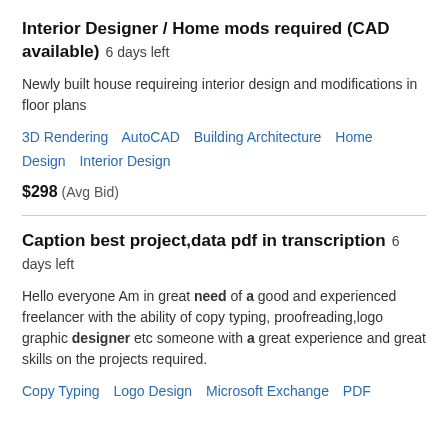Interior Designer / Home mods required (CAD available)  6 days left
Newly built house requireing interior design and modifications in floor plans
3D Rendering   AutoCAD   Building Architecture   Home Design   Interior Design
$298  (Avg Bid)
Caption best project,data pdf in transcription  6 days left
Hello everyone Am in great need of a good and experienced freelancer with the ability of copy typing, proofreading,logo graphic designer etc someone with a great experience and great skills on the projects required.
Copy Typing   Logo Design   Microsoft Exchange   PDF